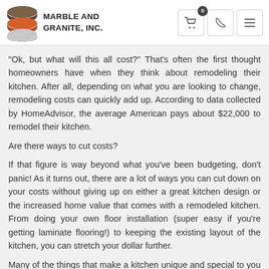MARBLE AND GRANITE, INC.
"Ok, but what will this all cost?" That's often the first thought homeowners have when they think about remodeling their kitchen. After all, depending on what you are looking to change, remodeling costs can quickly add up. According to data collected by HomeAdvisor, the average American pays about $22,000 to remodel their kitchen.
Are there ways to cut costs?
If that figure is way beyond what you've been budgeting, don't panic! As it turns out, there are a lot of ways you can cut down on your costs without giving up on either a great kitchen design or the increased home value that comes with a remodeled kitchen. From doing your own floor installation (super easy if you're getting laminate flooring!) to keeping the existing layout of the kitchen, you can stretch your dollar further.
Many of the things that make a kitchen unique and special to you from custom drawer pulls to the lighting... are relatively